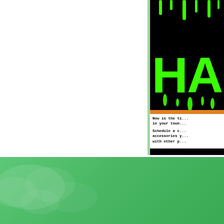[Figure (illustration): Halloween advertisement with black background, green dripping letters spelling 'HA' (partially visible), orange stripe, and white text area with body copy about Halloween promotions]
Now is the ti... in your town...
Schedule a c... accessories y... with other p...
[Figure (logo): Starfish Junction Productions logo with gold starfish/star icon and company name on green gradient background]
226 North Fehr Way
Bay Shore, NY 11706
Phone: (631) 940-7290
Fax: (631) 940-7289
www.starfishjunction.com
lyndac@starfishjunction.com
Advertising opportunites available. Call for info...
Click h...
story id...

Click h...
Tea E-M...